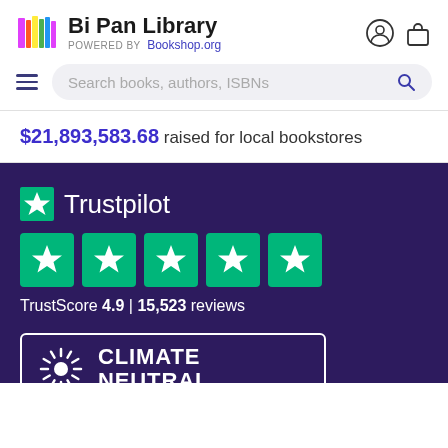Bi Pan Library POWERED BY Bookshop.org
Search books, authors, ISBNs
$21,893,583.68 raised for local bookstores
[Figure (logo): Trustpilot logo with green star and 5 green rating stars. TrustScore 4.9 | 15,523 reviews]
[Figure (logo): Climate Neutral certified logo with sunburst icon]